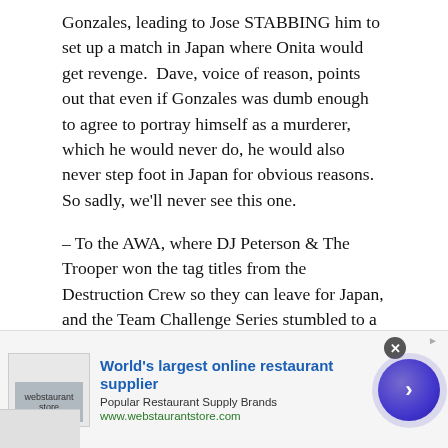Gonzales, leading to Jose STABBING him to set up a match in Japan where Onita would get revenge.  Dave, voice of reason, points out that even if Gonzales was dumb enough to agree to portray himself as a murderer, which he would never do, he would also never step foot in Japan for obvious reasons. So sadly, we'll never see this one.
– To the AWA, where DJ Peterson & The Trooper won the tag titles from the Destruction Crew so they can leave for Japan, and the Team Challenge Series stumbled to a sad end with Jake Milliman winning a battle royale in the finale to give Larry's Legends the "$1,000,000" prize.  It actually finished with Sgt. Slaughter's team captained by Col. DeBeers… (And that, ladies and gents
[Figure (other): Advertisement banner for webstaurantstore.com - World's largest online restaurant supplier. Shows logo, headline in blue, subtext 'Popular Restaurant Supply Brands', URL in green, and a purple circular CTA button with right arrow.]